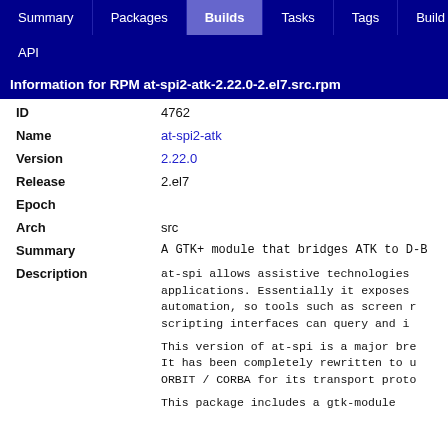Summary | Packages | Builds | Tasks | Tags | Build Targ | API
Information for RPM at-spi2-atk-2.22.0-2.el7.src.rpm
| Field | Value |
| --- | --- |
| ID | 4762 |
| Name | at-spi2-atk |
| Version | 2.22.0 |
| Release | 2.el7 |
| Epoch |  |
| Arch | src |
| Summary | A GTK+ module that bridges ATK to D-B |
| Description | at-spi allows assistive technologies...
applications. Essentially it exposes...
automation, so tools such as screen r...
scripting interfaces can query and i...

This version of at-spi is a major bre...
It has been completely rewritten to u...
ORBIT / CORBA for its transport proto...

This package includes a gtk-module... |